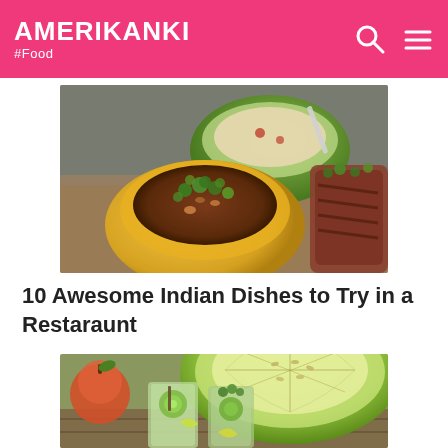AMERIKANKI #Food
[Figure (photo): Close-up photo of Indian food: a yellow bowl filled with dal/lentil soup garnished with fresh cilantro and herbs, a green bowl with a creamy soup in the background, and grilled meat garnished with herbs on the right side.]
10 Awesome Indian Dishes to Try in a Restaraunt
[Figure (photo): Photo of refreshing drinks and melon: glasses with cucumber and herb drinks, sliced green melon/honeydew in the background, and an apple on the left side.]